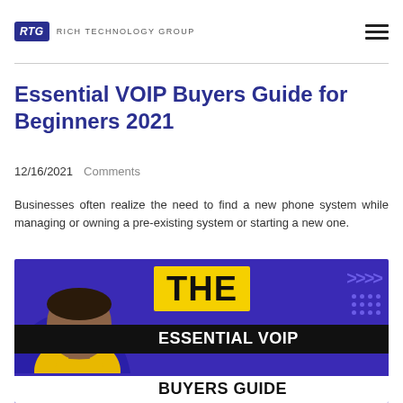RTG RICH TECHNOLOGY GROUP
Essential VOIP Buyers Guide for Beginners 2021
12/16/2021  Comments
Businesses often realize the need to find a new phone system while managing or owning a pre-existing system or starting a new one.
[Figure (photo): Thumbnail image for the Essential VOIP Buyers Guide article showing a man in a yellow shirt against a purple background with text overlays: THE ESSENTIAL VOIP BUYERS GUIDE]